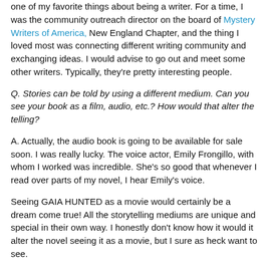one of my favorite things about being a writer. For a time, I was the community outreach director on the board of Mystery Writers of America, New England Chapter, and the thing I loved most was connecting different writing community and exchanging ideas. I would advise to go out and meet some other writers. Typically, they're pretty interesting people.
Q. Stories can be told by using a different medium. Can you see your book as a film, audio, etc.? How would that alter the telling?
A. Actually, the audio book is going to be available for sale soon. I was really lucky. The voice actor, Emily Frongillo, with whom I worked was incredible. She's so good that whenever I read over parts of my novel, I hear Emily's voice.
Seeing GAIA HUNTED as a movie would certainly be a dream come true! All the storytelling mediums are unique and special in their own way. I honestly don't know how it would it alter the novel seeing it as a movie, but I sure as heck want to see.